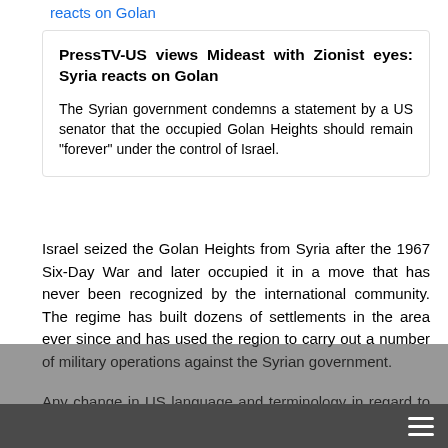reacts on Golan
PressTV-US views Mideast with Zionist eyes: Syria reacts on Golan
The Syrian government condemns a statement by a US senator that the occupied Golan Heights should remain "forever" under the control of Israel.
Israel seized the Golan Heights from Syria after the 1967 Six-Day War and later occupied it in a move that has never been recognized by the international community. The regime has built dozens of settlements in the area ever since and has used the region to carry out a number of military operations against the Syrian government.
Any change in US language and terminology in regard to the West Bank and Gaza Strip is a cause of concern for Muslims as it reflects Washington's intentions about supporting the establishment of a Palestinian state envisaged by interim peace agreements in the 1990s.